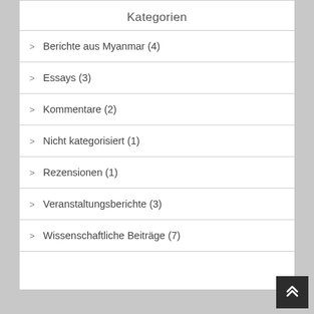Kategorien
Berichte aus Myanmar (4)
Essays (3)
Kommentare (2)
Nicht kategorisiert (1)
Rezensionen (1)
Veranstaltungsberichte (3)
Wissenschaftliche Beiträge (7)